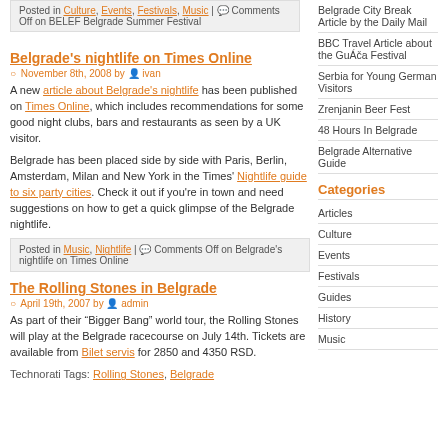Posted in Culture, Events, Festivals, Music | Comments Off on BELEF Belgrade Summer Festival
Belgrade's nightlife on Times Online
November 8th, 2008 by ivan
A new article about Belgrade's nightlife has been published on Times Online, which includes recommendations for some good night clubs, bars and restaurants as seen by a UK visitor.
Belgrade has been placed side by side with Paris, Berlin, Amsterdam, Milan and New York in the Times' Nightlife guide to six party cities. Check it out if you're in town and need suggestions on how to get a quick glimpse of the Belgrade nightlife.
Posted in Music, Nightlife | Comments Off on Belgrade's nightlife on Times Online
The Rolling Stones in Belgrade
April 19th, 2007 by admin
As part of their "Bigger Bang" world tour, the Rolling Stones will play at the Belgrade racecourse on July 14th. Tickets are available from Bilet servis for 2850 and 4350 RSD.
Technorati Tags: Rolling Stones, Belgrade
Belgrade City Break Article by the Daily Mail
BBC Travel Article about the Guča Festival
Serbia for Young German Visitors
Zrenjanin Beer Fest
48 Hours In Belgrade
Belgrade Alternative Guide
Categories
Articles
Culture
Events
Festivals
Guides
History
Music